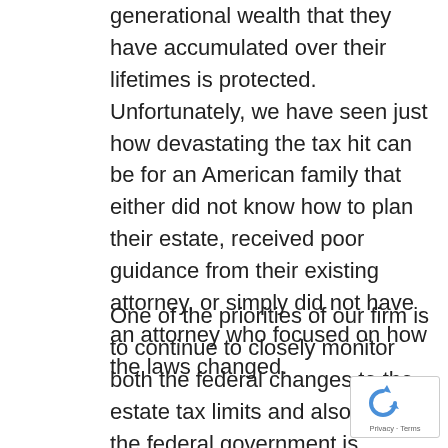generational wealth that they have accumulated over their lifetimes is protected. Unfortunately, we have seen just how devastating the tax hit can be for an American family that either did not know how to plan their estate, received poor guidance from their existing attorney, or simply did not have an attorney who focused on how the laws changed.
One of the priorities of our firm is to continue to closely monitor both the federal changes to the estate tax limits and also how the federal government is proposing to change the existing estate planning tools available, in addition to any changes by the state. Dropp from $11.7 million in protection to $5 million is